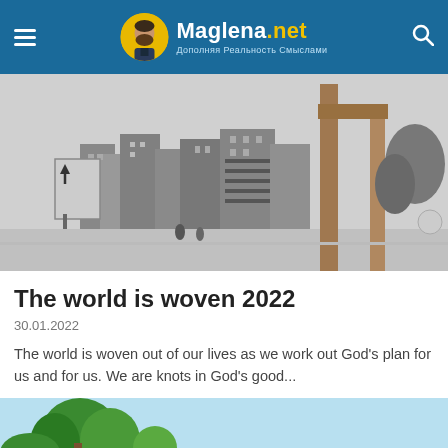Maglena.net — Дополняя Реальность Смыслами
[Figure (photo): Black and white photograph of an urban street scene with buildings, signs, and poles]
The world is woven 2022
30.01.2022
The world is woven out of our lives as we work out God's plan for us and for us. We are knots in God's good...
[Figure (illustration): Partial illustration showing trees and blue sky at the bottom of the page]